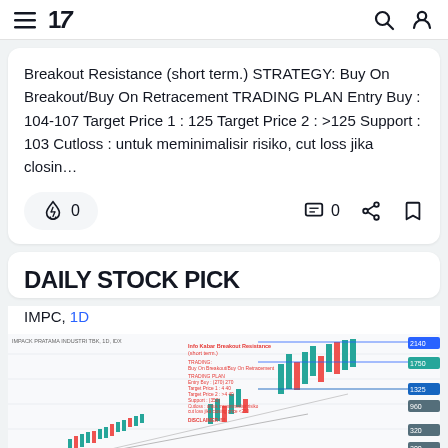TradingView navigation bar with logo, search and profile icons
Breakout Resistance (short term.) STRATEGY: Buy On Breakout/Buy On Retracement TRADING PLAN Entry Buy : 104-107 Target Price 1 : 125 Target Price 2 : >125 Support : 103 Cutloss : untuk meminimalisir risiko, cut loss jika closin…
DAILY STOCK PICK
IMPC, 1D
[Figure (screenshot): Candlestick chart for IMPC (Impack Pratama Industri Tbk) on 1D timeframe showing upward trending price with annotations for strategy, trading plan including entry buy, target prices, support, and disclaimer. Chart shows green and red candles with an upward trend, price levels labeled on the right axis.]